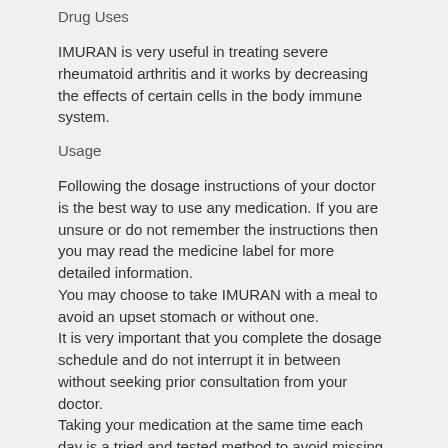Drug Uses
IMURAN is very useful in treating severe rheumatoid arthritis and it works by decreasing the effects of certain cells in the body immune system.
Usage
Following the dosage instructions of your doctor is the best way to use any medication. If you are unsure or do not remember the instructions then you may read the medicine label for more detailed information.
You may choose to take IMURAN with a meal to avoid an upset stomach or without one.
It is very important that you complete the dosage schedule and do not interrupt it in between without seeking prior consultation from your doctor.
Taking your medication at the same time each day is a tried and tested method to avoid missing any doses.
Drug Class and Mechanism
IMURAN falls under antimetabolite and it works by decreasing the effects of certain cells in the body immune system.
Missed Dose
Despite your best attempts at remembering, if you still miss out on a dose, then take it as soon as you remember about it. But keep in mind that you will have to adjust your schedule for the rest of the day accordingly.